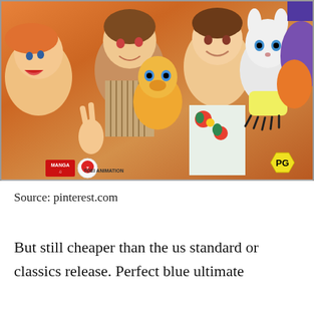[Figure (illustration): Anime illustration showing multiple characters from Digimon including young human characters and their Digimon partners (Agumon, Gatomon). Manga and Toei Animation logos visible in bottom left, PG rating badge in bottom right.]
Source: pinterest.com
But still cheaper than the us standard or classics release. Perfect blue ultimate